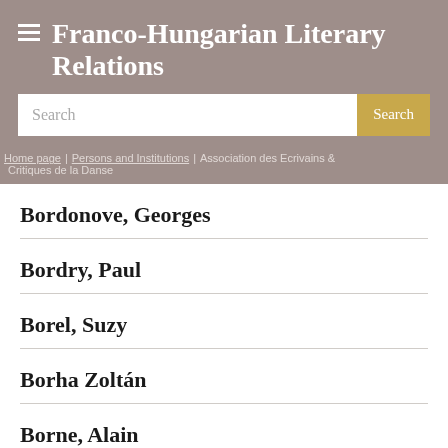Franco-Hungarian Literary Relations
Search
Home page > Persons and Institutions > Association des Ecrivains & Critiques de la Danse
Bordonove, Georges
Bordry, Paul
Borel, Suzy
Borha Zoltán
Borne, Alain